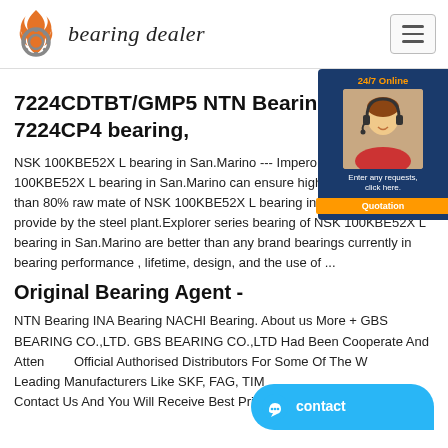bearing dealer
7224CDTBT/GMP5 NTN Bearing | 7224CP4 bearing,
NSK 100KBE52X L bearing in San.Marino --- Impero bearing .... NSK 100KBE52X L bearing in San.Marino can ensure high quality for more than 80% raw mate of NSK 100KBE52X L bearing in San.Marino provide by the steel plant.Explorer series bearing of NSK 100KBE52X L bearing in San.Marino are better than any brand bearings currently in bearing performance , lifetime, design, and the use of ...
Original Bearing Agent -
NTN Bearing INA Bearing NACHI Bearing. About us More + GBS BEARING CO.,LTD. GBS BEARING CO.,LTD Had Been Cooperate And Atten Official Authorised Distributors For Some Of The W Leading Manufacturers Like SKF, FAG, TIM Contact Us And You Will Receive Best Price And Fa...